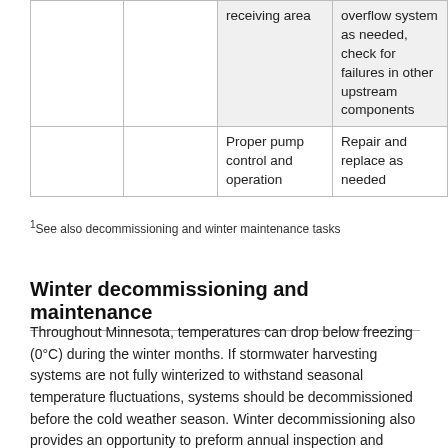|  |  | Proper controls | Corrective action |
| --- | --- | --- | --- |
|  |  | receiving area | overflow system as needed, check for failures in other upstream components |
|  |  | Proper pump control and operation | Repair and replace as needed |
1See also decommissioning and winter maintenance tasks
Winter decommissioning and maintenance
Throughout Minnesota, temperatures can drop below freezing (0°C) during the winter months. If stormwater harvesting systems are not fully winterized to withstand seasonal temperature fluctuations, systems should be decommissioned before the cold weather season. Winter decommissioning also provides an opportunity to preform annual inspection and